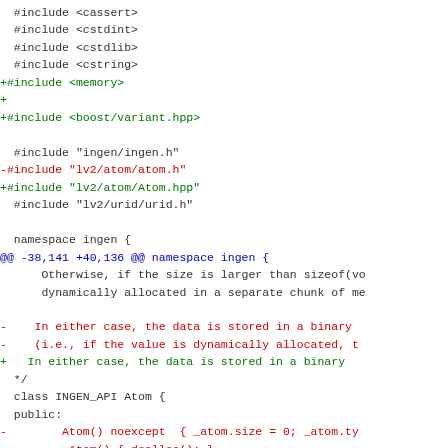Code diff showing C++ source changes including added includes for memory and boost/variant.hpp, removed lv2/atom/atom.h and replaced with lv2/atom/Atom.hpp, hunk header, and class definition changes for INGEN_API Atom.